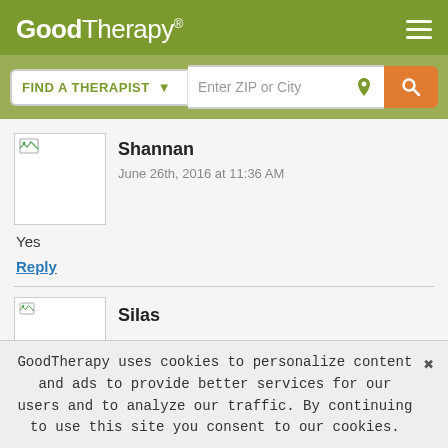GoodTherapy®
FIND A THERAPIST  ▾   Enter ZIP or City
Shannan
June 26th, 2016 at 11:36 AM
Yes
Reply
Silas
GoodTherapy uses cookies to personalize content and ads to provide better services for our users and to analyze our traffic. By continuing to use this site you consent to our cookies.